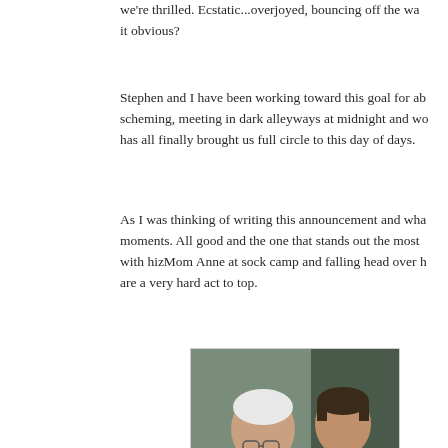we're thrilled. Ecstatic...overjoyed, bouncing off the walls. Does it obvious?
Stephen and I have been working toward this goal for ab scheming, meeting in dark alleyways at midnight and wo has all finally brought us full circle to this day of days.
As I was thinking of writing this announcement and wha moments. All good and the one that stands out the most with hizMom Anne at sock camp and falling head over h are a very hard act to top.
[Figure (photo): Two women looking down at something, one older with white hair wearing a purple top and glasses, one younger with short dark hair wearing a green jacket over an orange shirt.]